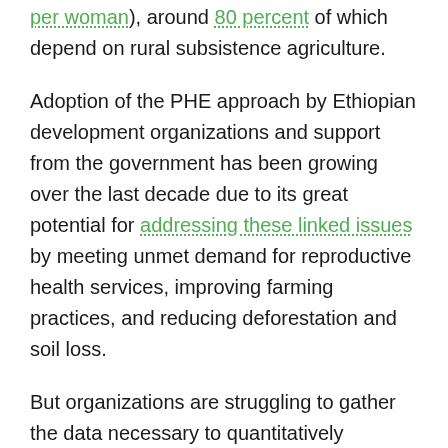per woman), around 80 percent of which depend on rural subsistence agriculture.
Adoption of the PHE approach by Ethiopian development organizations and support from the government has been growing over the last decade due to its great potential for addressing these linked issues by meeting unmet demand for reproductive health services, improving farming practices, and reducing deforestation and soil loss.
But organizations are struggling to gather the data necessary to quantitatively demonstrate that these integrated programs have an enhanced value over single-sector interventions.
“It is challenging to create buy-in for the PHE approach in Ethiopia when there is very little data supporting their projects’ success stories,” said the consortium’s executive director, Negash Teklu...